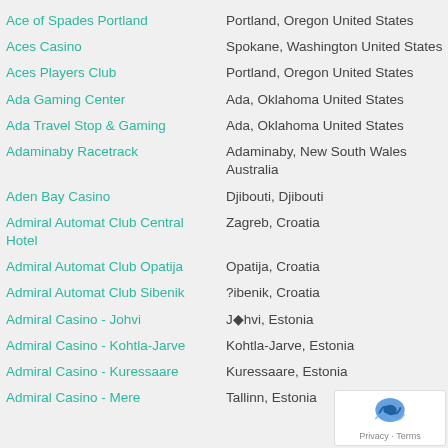Ace of Spades Portland | Portland, Oregon United States
Aces Casino | Spokane, Washington United States
Aces Players Club | Portland, Oregon United States
Ada Gaming Center | Ada, Oklahoma United States
Ada Travel Stop & Gaming | Ada, Oklahoma United States
Adaminaby Racetrack | Adaminaby, New South Wales Australia
Aden Bay Casino | Djibouti, Djibouti
Admiral Automat Club Central Hotel | Zagreb, Croatia
Admiral Automat Club Opatija | Opatija, Croatia
Admiral Automat Club Sibenik | ?ibenik, Croatia
Admiral Casino - Johvi | J◆hvi, Estonia
Admiral Casino - Kohtla-Jarve | Kohtla-Jarve, Estonia
Admiral Casino - Kuressaare | Kuressaare, Estonia
Admiral Casino - Mere | Tallinn, Estonia